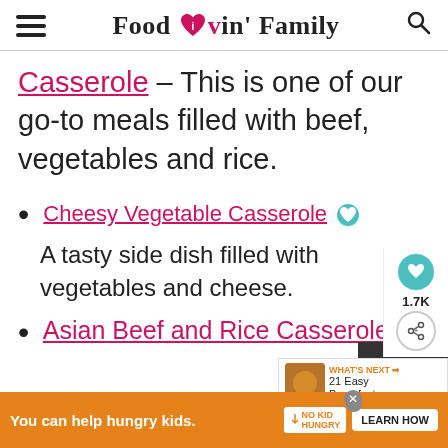Food Lovin' Family
Casserole – This is one of our go-to meals filled with beef, vegetables and rice.
Cheesy Vegetable Casserole – A tasty side dish filled with vegetables and cheese.
Asian Beef and Rice Casserole